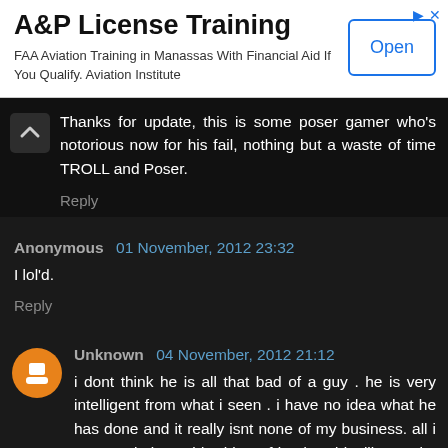[Figure (screenshot): Ad banner: A&P License Training. FAA Aviation Training in Manassas With Financial Aid If You Qualify. Aviation Institute. Open button.]
Thanks for update, this is some poser gamer who's notorious now for his fail, nothing but a waste of time TROLL and Poser.
Reply
Anonymous  01 November, 2012 23:32
I lol'd.
Reply
Unknown  04 November, 2012 21:12
i dont think he is all that bad of a guy . he is very intelligent from what i seen . i have no idea what he has done and it really isnt none of my business. all i can say is i consider him a friend and i will not take sides when it comes to